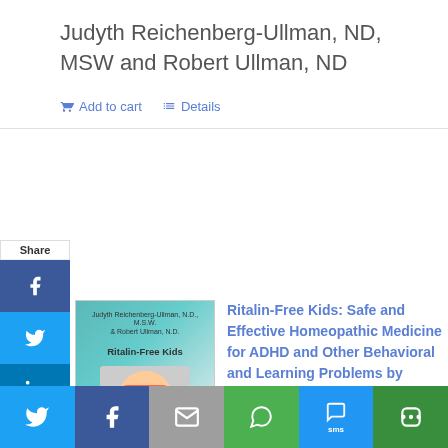Judyth Reichenberg-Ullman, ND, MSW and Robert Ullman, ND
Add to cart   Details
[Figure (illustration): Book cover for Ritalin-Free Kids showing a child wearing 3D glasses]
Ritalin-Free Kids: Safe and Effective Homeopathic Medicine for ADHD and Other Behavioral and Learning Problems by JUDYTH REICHENBERG-ULLMAN, ND, MSW, and ROBERT ULLMAN, ND
[Figure (infographic): Share sidebar with Facebook, Twitter, LinkedIn, Email, Share, and Pinterest buttons]
[Figure (infographic): Bottom social sharing bar with Twitter, Facebook, Email, WhatsApp, SMS, and More buttons]